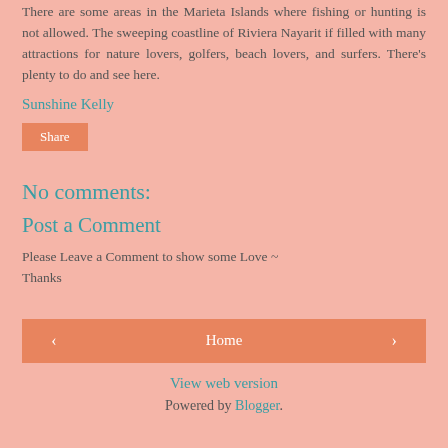There are some areas in the Marieta Islands where fishing or hunting is not allowed. The sweeping coastline of Riviera Nayarit if filled with many attractions for nature lovers, golfers, beach lovers, and surfers. There's plenty to do and see here.
Sunshine Kelly
Share
No comments:
Post a Comment
Please Leave a Comment to show some Love ~ Thanks
‹
Home
›
View web version
Powered by Blogger.